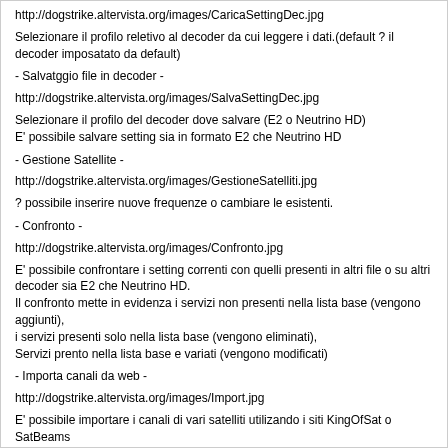http://dogstrike.altervista.org/images/CaricaSettingDec.jpg
Selezionare il profilo reletivo al decoder da cui leggere i dati.(default ? il decoder imposatato da default)
- Salvatggio file in decoder -
http://dogstrike.altervista.org/images/SalvaSettingDec.jpg
Selezionare il profilo del decoder dove salvare (E2 o Neutrino HD)
E' possibile salvare setting sia in formato E2 che Neutrino HD
- Gestione Satellite -
http://dogstrike.altervista.org/images/GestioneSatelliti.jpg
? possibile inserire nuove frequenze o cambiare le esistenti.
- Confronto -
http://dogstrike.altervista.org/images/Confronto.jpg
E' possibile confrontare i setting correnti con quelli presenti in altri file o su altri decoder sia E2 che Neutrino HD.
Il confronto mette in evidenza i servizi non presenti nella lista base (vengono aggiunti),
i servizi presenti solo nella lista base (vengono eliminati),
Servizi prento nella lista base e variati (vengono modificati)
- Importa canali da web -
http://dogstrike.altervista.org/images/Import.jpg
E' possibile importare i canali di vari satelliti utilizando i siti KingOfSat o SatBeams
E' possibile esportare in formato excel la lista canali scaricati da web.
thanks Dogstrike